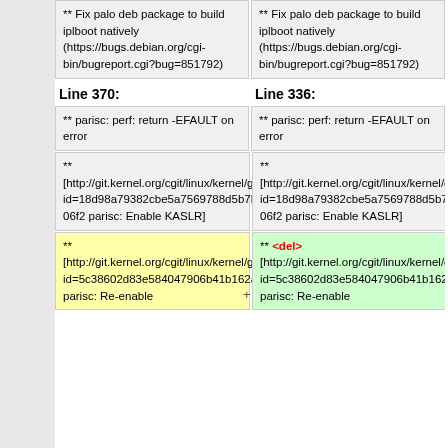| Line 370: | Line 336: |
| --- | --- |
| ** Fix palo deb package to build iplboot natively (https://bugs.debian.org/cgi-bin/bugreport.cgi?bug=851792) | ** Fix palo deb package to build iplboot natively (https://bugs.debian.org/cgi-bin/bugreport.cgi?bug=851792) |
| ** parisc: perf: return -EFAULT on error | ** parisc: perf: return -EFAULT on error |
| ** [http://git.kernel.org/cgit/linux/kernel/git/torvalds/linux.git/commit/?id=18d98a79382cbe5a7569788d5b7b18e7015506f2 parisc: Enable KASLR] | ** [http://git.kernel.org/cgit/linux/kernel/git/torvalds/linux.git/commit/?id=18d98a79382cbe5a7569788d5b7b18e7015506f2 parisc: Enable KASLR] |
| ** [http://git.kernel.org/cgit/linux/kernel/git/torvalds/linux.git/commit/?id=5c38602d83e584047906b41b162ababd4db4106d parisc: Re-enable | ** <del>[http://git.kernel.org/cgit/linux/kernel/git/torvalds/linux.git/commit/?id=5c38602d83e584047906b41b162ababd4db4106d parisc: Re-enable |